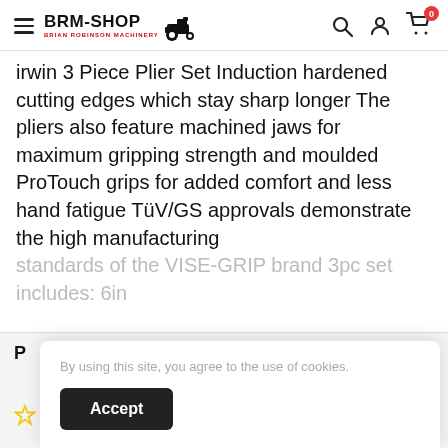BRM-SHOP (BRIAN ROBINSON MACHINERY)
Irwin 3 Piece Plier Set Induction hardened cutting edges which stay sharp longer The pliers also feature machined jaws for maximum gripping strength and moulded ProTouch grips for added comfort and less hand fatigue TüV/GS approvals demonstrate the high manufacturing standards of the VISE-GRIP brand 3pc set includes: 6in
+ View more
By using this site, you agree to the use of cookies.
Accept